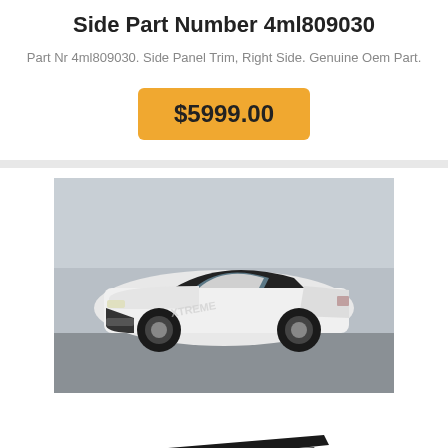Side Part Number 4ml809030
Part Nr 4ml809030. Side Panel Trim, Right Side. Genuine Oem Part.
$5999.00
[Figure (photo): White Chevrolet Camaro sports car photographed from front-left angle in a parking lot, with black hood and dark wheels]
[Figure (photo): Carbon fiber side panel trim parts including a front lip and side skirts laid out on white background]